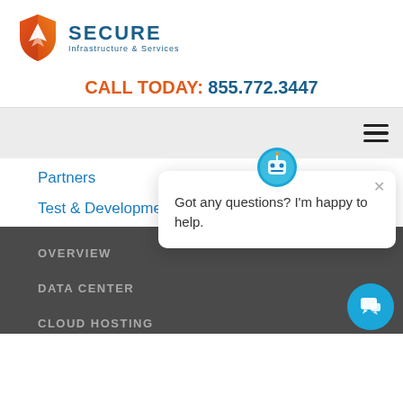[Figure (logo): Secure Infrastructure & Services logo: orange shield with white mountain/flame icon, blue text SECURE and Infrastructure & Services]
CALL TODAY: 855.772.3447
[Figure (other): Navigation bar with hamburger menu icon (three horizontal lines)]
Partners
Test & Development
[Figure (other): Chatbot popup bubble with avatar icon, close X button, and text: Got any questions? I'm happy to help.]
OVERVIEW
DATA CENTER
CLOUD HOSTING